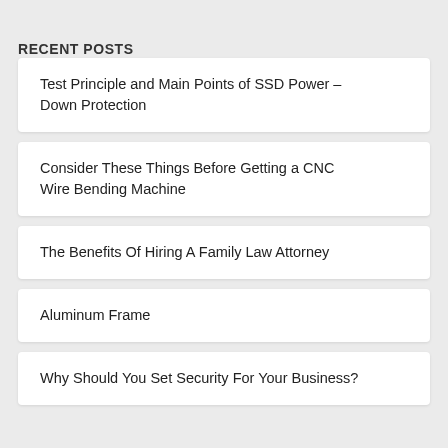RECENT POSTS
Test Principle and Main Points of SSD Power – Down Protection
Consider These Things Before Getting a CNC Wire Bending Machine
The Benefits Of Hiring A Family Law Attorney
Aluminum Frame
Why Should You Set Security For Your Business?